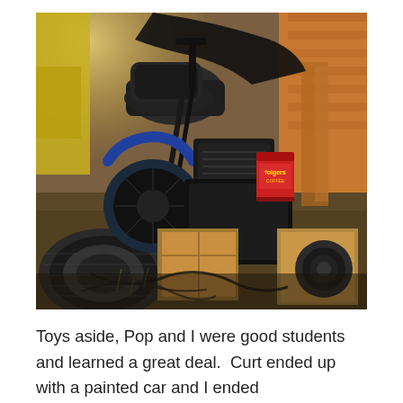[Figure (photo): A cluttered garage or storage space interior showing an old motorcycle or similar vehicle with a black seat and fender, a spare tire visible on the left, various mechanical parts, a red Folgers coffee can, cardboard boxes, and loose wiring scattered on the floor.]
Toys aside, Pop and I were good students and learned a great deal.  Curt ended up with a painted car and I ended